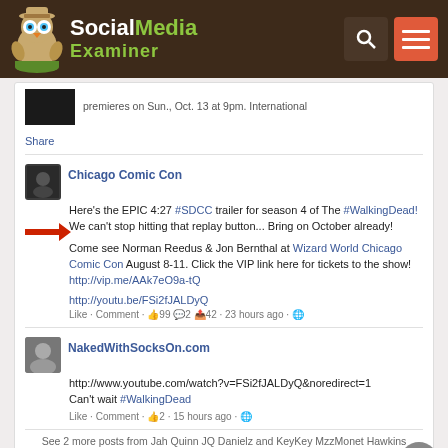[Figure (screenshot): Social Media Examiner website header with owl logo, search icon, and hamburger menu on dark brown background]
premieres on Sun., Oct. 13 at 9pm. International
Share
Chicago Comic Con
Here's the EPIC 4:27 #SDCC trailer for season 4 of The #WalkingDead! We can't stop hitting that replay button... Bring on October already!
Come see Norman Reedus & Jon Bernthal at Wizard World Chicago Comic Con August 8-11. Click the VIP link here for tickets to the show! http://vip.me/AAk7eO9a-tQ
http://youtu.be/FSi2fJALDyQ
Like · Comment · 👍99 💬2 📤42 · 23 hours ago ·
NakedWithSocksOn.com
http://www.youtube.com/watch?v=FSi2fJALDyQ&noredirect=1
Can't wait #WalkingDead
Like · Comment · 👍2 · 15 hours ago ·
See 2 more posts from Jah Quinn JQ Danielz and KeyKey MzzMonet Hawkins
The #WalkingDead hashtag connects people interested in this show.